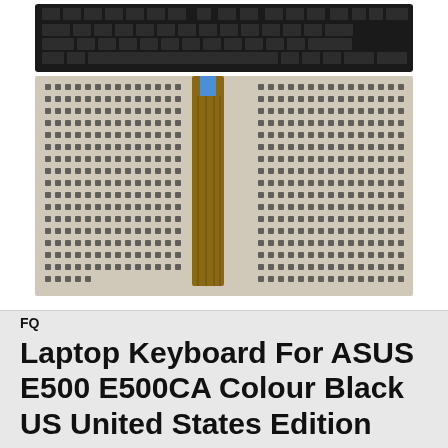[Figure (photo): Two photos of a laptop keyboard for ASUS E500 E500CA. Top image shows the keyboard installed in a dark laptop with visible keys. Bottom image shows the back/underside of the keyboard with circuit board traces and a ribbon cable connector.]
FQ
Laptop Keyboard For ASUS E500 E500CA Colour Black US United States Edition